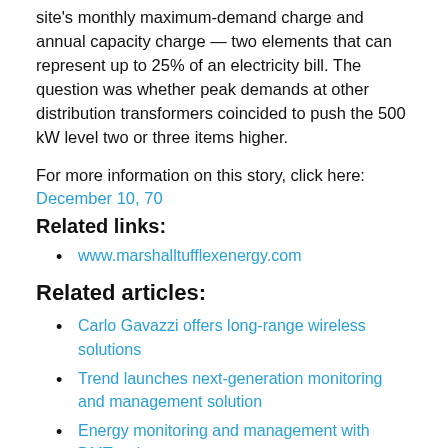site's monthly maximum-demand charge and annual capacity charge — two elements that can represent up to 25% of an electricity bill. The question was whether peak demands at other distribution transformers coincided to push the 500 kW level two or three items higher.
For more information on this story, click here: December 10, 70
Related links:
www.marshalltufflexenergy.com
Related articles:
Carlo Gavazzi offers long-range wireless solutions
Trend launches next-generation monitoring and management solution
Energy monitoring and management with DMTouch
CP Electronics offers a detailed look at lighting energy consumption
Partnership of Barclays and Smart Buildings wins